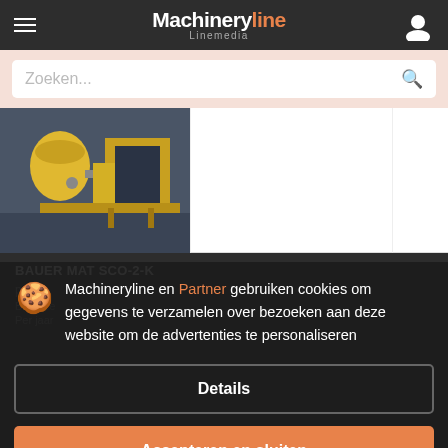Machineryline | Linemedia
Zoeken...
[Figure (photo): Yellow industrial concrete mixing machinery (BAUER MAT SCO-2-K) in a warehouse setting]
BAUER MAT SCO-2-K
prijs op aanvraag
Betoncentrale
Per jaar: ...
Machineryline en Partner gebruiken cookies om gegevens te verzamelen over bezoeken aan deze website om de advertenties te personaliseren
Details
Accepteren en sluiten